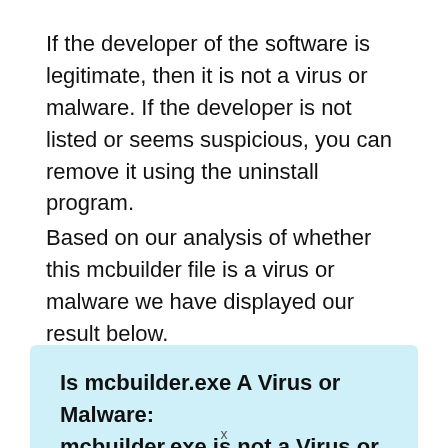If the developer of the software is legitimate, then it is not a virus or malware. If the developer is not listed or seems suspicious, you can remove it using the uninstall program.
Based on our analysis of whether this mcbuilder file is a virus or malware we have displayed our result below.
Is mcbuilder.exe A Virus or Malware: mcbuilder.exe is not a Virus or Malware.
x